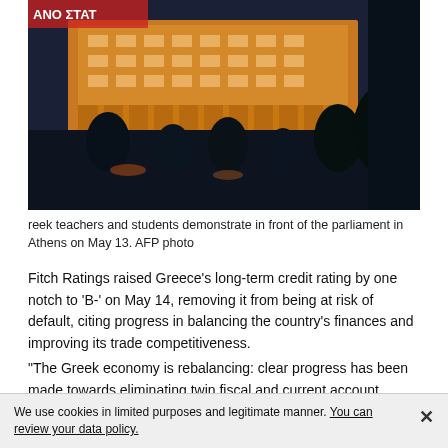[Figure (photo): Nighttime protest scene in front of an illuminated neoclassical parliament building in Athens; silhouettes of protesters visible in foreground, protest banner partially visible at top left.]
reek teachers and students demonstrate in front of the parliament in Athens on May 13. AFP photo
Fitch Ratings raised Greece's long-term credit rating by one notch to 'B-' on May 14, removing it from being at risk of default, citing progress in balancing the country's finances and improving its trade competitiveness.
"The Greek economy is rebalancing: clear progress has been made towards eliminating twin fiscal and current account deficits..." said Fitch, adding that the outlook for the rating was stable. The country's 240 billion euro ($310 bn) international bailout, sovereign debt relief and an easing of
We use cookies in limited purposes and legitimate manner. You can review your data policy.